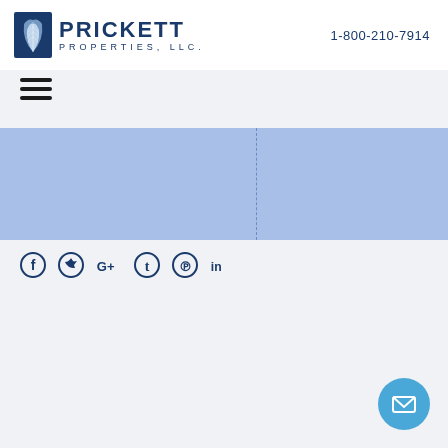[Figure (logo): Prickett Properties LLC logo with feather/palm leaf icon and company name]
1-800-210-7914
[Figure (other): Hamburger menu icon (three horizontal lines)]
[Figure (other): Blue banner split by dashed vertical line into two columns]
[Figure (other): Social media icons: Facebook, Twitter, Google+, Tumblr, Pinterest, LinkedIn]
[Figure (other): Email/mail button - circular blue button with envelope icon in bottom right corner]